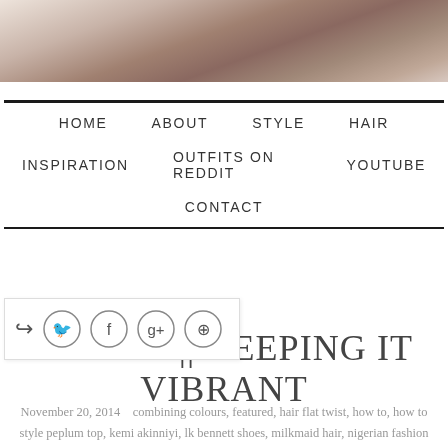[Figure (photo): Top portion of a blog page showing a cropped photo of food/object on a light background]
HOME   ABOUT   STYLE   HAIR   INSPIRATION   OUTFITS ON REDDIT   YOUTUBE   CONTACT
[Figure (infographic): Share/social icons bar with share arrow, Twitter, Facebook, Google+, and Pinterest circle icons]
OUTFIT || KEEPING IT VIBRANT
November 20, 2014    combining colours, featured, hair flat twist, how to, how to style peplum top, kemi akinniyi, lk bennett shoes, milkmaid hair, nigerian fashion 2014, purple outfit, relaxed hair, sandals, style, velvet skirt    2 comments